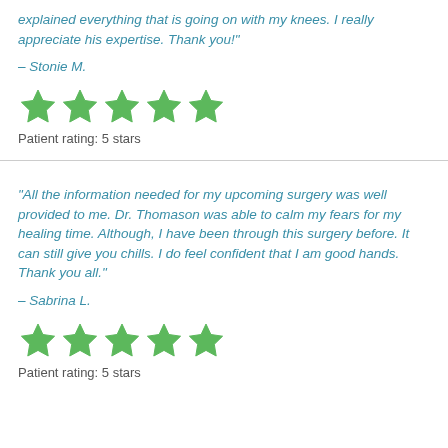“explained everything that is going on with my knees. I really appreciate his expertise. Thank you!”
– Stonie M.
[Figure (other): Five green stars rating]
Patient rating: 5 stars
“All the information needed for my upcoming surgery was well provided to me. Dr. Thomason was able to calm my fears for my healing time. Although, I have been through this surgery before. It can still give you chills. I do feel confident that I am good hands. Thank you all.”
– Sabrina L.
[Figure (other): Five green stars rating]
Patient rating: 5 stars